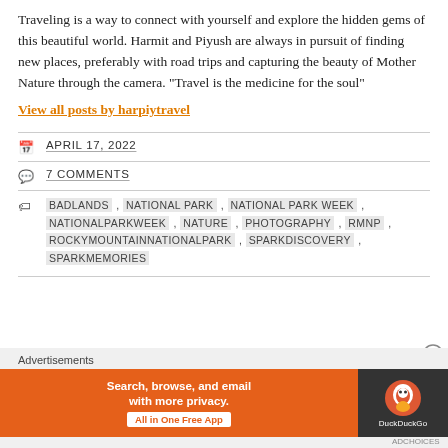Traveling is a way to connect with yourself and explore the hidden gems of this beautiful world. Harmit and Piyush are always in pursuit of finding new places, preferably with road trips and capturing the beauty of Mother Nature through the camera. "Travel is the medicine for the soul"
View all posts by harpiytravel
APRIL 17, 2022
7 COMMENTS
BADLANDS, NATIONAL PARK, NATIONAL PARK WEEK, NATIONALPARKWEEK, NATURE, PHOTOGRAPHY, RMNP, ROCKYMOUNTAINNATIONALPARK, SPARKDISCOVERY, SPARKMEMORIES
Advertisements
[Figure (other): DuckDuckGo advertisement banner: orange background on left with text 'Search, browse, and email with more privacy. All in One Free App', dark background on right with DuckDuckGo logo and name.]